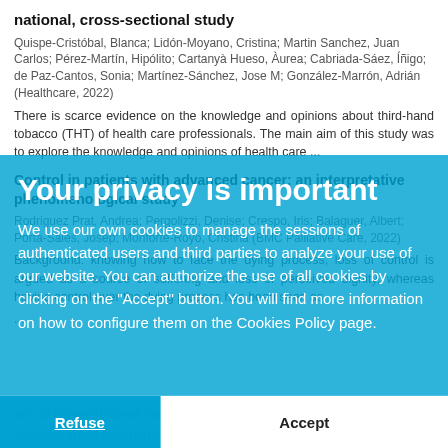national, cross-sectional study
Quispe-Cristóbal, Blanca; Lidón-Moyano, Cristina; Martin Sanchez, Juan Carlos; Pérez-Martín, Hipólito; Cartanyà Hueso, Àurea; Cabriada-Sáez, Íñigo; de Paz-Cantos, Sonia; Martínez-Sánchez, Jose M; González-Marrón, Adrián (Healthcare, 2022)
There is scarce evidence on the knowledge and opinions about third-hand tobacco (THT) of health care professionals. The main aim of this study was to explore the knowledge and opinions of health care ...
Control in patients with advanced cancer: an interpretative phenomenological study
Rodriguez Prat, Andrea; Pergolizzi, Denise; Crespo, Iris; Balaguer, Albert; Porta-Sales, Josep; Monforte-Royo, Cristina (BMC Palliative Care, 2022)
Background: knowing how to face the dying process, loss of control is argued as a source of suffering and loss of perceived dignity, whereas having control over the dying process has been seen as ...
An interventional nationwide surveillance program lowers postoperative infection rates in elective